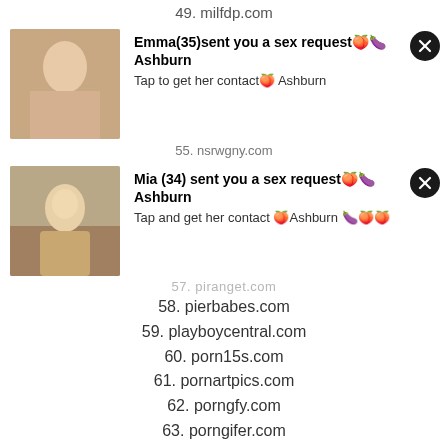49. milfdp.com
[Figure (photo): Ad card with female photo, Emma(35) sex request notification from Ashburn]
55. nsrwgny.com
[Figure (photo): Ad card with female photo, Mia (34) sex request notification from Ashburn]
57. piranget.com
58. pierbabes.com
59. playboycentral.com
60. porn15s.com
61. pornartpics.com
62. porngfy.com
63. porngifer.com
64. porngifmag.com
65. ...